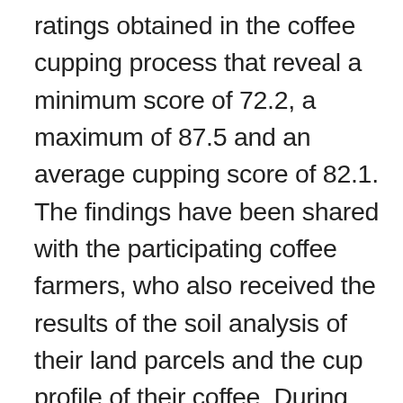ratings obtained in the coffee cupping process that reveal a minimum score of 72.2, a maximum of 87.5 and an average cupping score of 82.1. The findings have been shared with the participating coffee farmers, who also received the results of the soil analysis of their land parcels and the cup profile of their coffee. During the feedback sessions, the farmers participated in an introductory cupping course since the authors of the study, Audrey Claeys and Jonas Geeroms, highly recommend that farmer associations invest in capacity building in coffee cupping, in order to improve their knowledge of the product, be able to improve the quality and